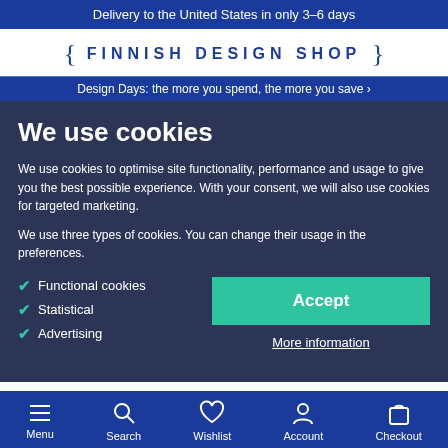Delivery to the United States in only 3–6 days
[Figure (logo): Finnish Design Shop logo with curly braces]
Design Days: the more you spend, the more you save ›
We use cookies
We use cookies to optimise site functionality, performance and usage to give you the best possible experience. With your consent, we will also use cookies for targeted marketing.
We use three types of cookies. You can change their usage in the preferences.
Functional cookies
Statistical
Advertising
Accept
More information
Menu  Search  Wishlist  Account  Checkout